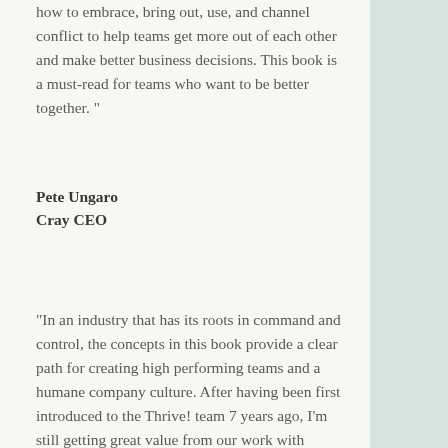how to embrace, bring out, use, and channel conflict to help teams get more out of each other and make better business decisions. This book is a must-read for teams who want to be better together. "
Pete Ungaro
Cray CEO
"In an industry that has its roots in command and control, the concepts in this book provide a clear path for creating high performing teams and a humane company culture. After having been first introduced to the Thrive! team 7 years ago, I'm still getting great value from our work with Thrive! This is a must-read for any leader wanting to influence a more thriving organization."